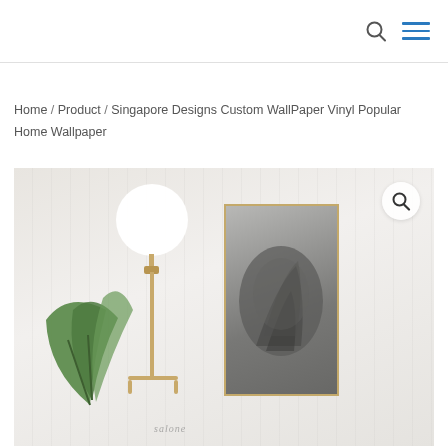Home / Product / Singapore Designs Custom WallPaper Vinyl Popular Home Wallpaper
[Figure (photo): Product photo of a minimalist room interior with white/light grey textured wallpaper, a gold floor lamp with white globe bulb, a framed artwork print leaning against the wall, and green tropical plant leaves in the foreground. A search/magnify icon button is overlaid in the top-right corner of the image.]